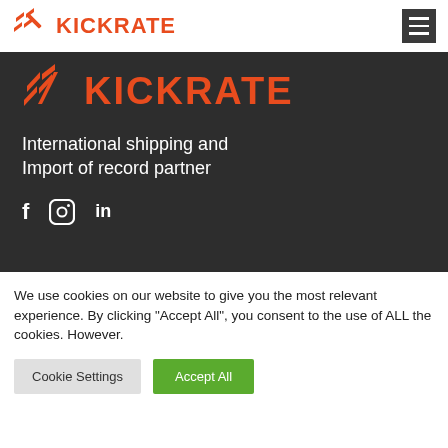KICKRATE
[Figure (screenshot): Kickrate hero banner with dark background showing Kickrate logo in orange, tagline 'International shipping and Import of record partner', and social media icons for Facebook, Instagram, and LinkedIn]
We use cookies on our website to give you the most relevant experience. By clicking "Accept All", you consent to the use of ALL the cookies. However.
Cookie Settings | Accept All